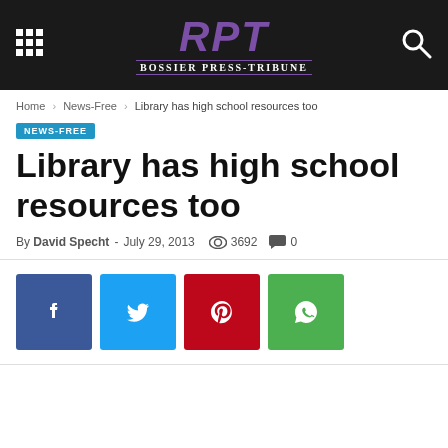RPT Bossier Press-Tribune
Home > News-Free > Library has high school resources too
NEWS-FREE
Library has high school resources too
By David Specht - July 29, 2013  3692  0
[Figure (other): Social media share buttons: Facebook, Twitter, Pinterest, WhatsApp]